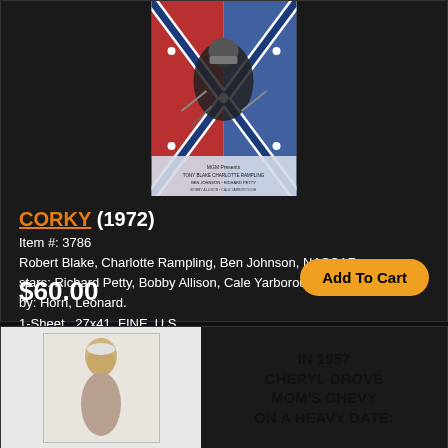[Figure (photo): Movie poster for CORKY (1972) showing a race car driver with Confederate flag imagery]
CORKY (1972)
Item #: 3786
Robert Blake, Charlotte Rampling, Ben Johnson, NASCAR stars: Richard Petty, Bobby Allison, Cale Yarborough. Directed by: Horn, Leonard.
1-Sheet , 27x41  FINE, U.S.
$60.00
Add To Cart
[Figure (photo): Bottom product listing showing partial movie poster image on left and text on right]
IN 1957 CHERYL DROVE MOM'S CHEVY ON A HEAVY DATE: